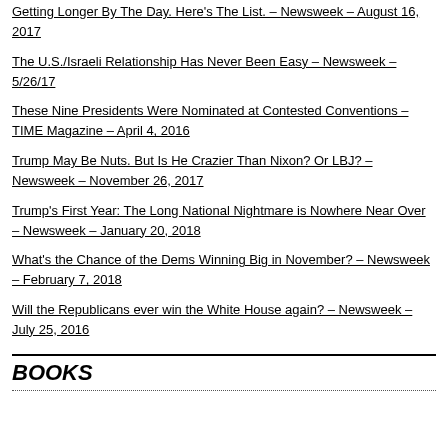Getting Longer By The Day. Here's The List. – Newsweek – August 16, 2017
The U.S./Israeli Relationship Has Never Been Easy – Newsweek – 5/26/17
These Nine Presidents Were Nominated at Contested Conventions – TIME Magazine – April 4, 2016
Trump May Be Nuts. But Is He Crazier Than Nixon? Or LBJ? – Newsweek – November 26, 2017
Trump's First Year: The Long National Nightmare is Nowhere Near Over – Newsweek – January 20, 2018
What's the Chance of the Dems Winning Big in November? – Newsweek – February 7, 2018
Will the Republicans ever win the White House again? – Newsweek – July 25, 2016
BOOKS